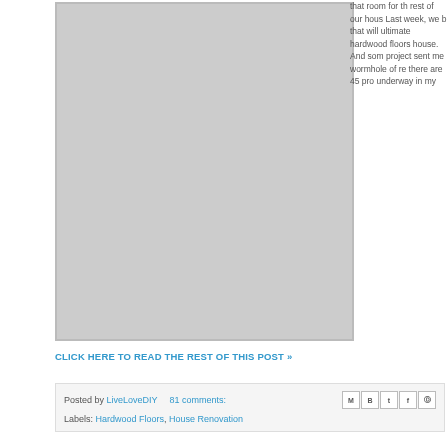[Figure (photo): Photo collage of home renovation showing rooms before/during renovation: living room with vaulted ceiling, room with stone fireplace, hallway, room with French doors, narrow corridor, staircase with white railings]
that room for the rest of our house. Last week, we b that will ultimate hardwood floors house. And som project sent me wormhole of re there are 45 pr underway in my
CLICK HERE TO READ THE REST OF THIS POST »
Posted by LiveLoveDIY   81 comments:
Labels: Hardwood Floors, House Renovation